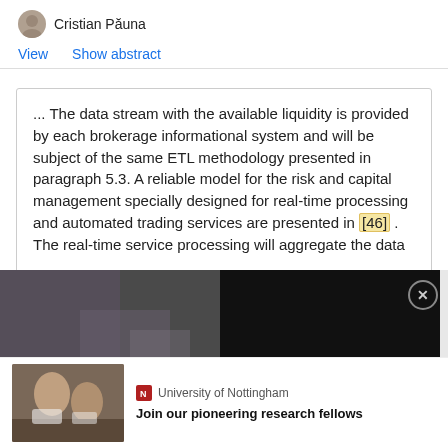Cristian Păuna
View   Show abstract
... The data stream with the available liquidity is provided by each brokerage informational system and will be subject of the same ETL methodology presented in paragraph 5.3. A reliable model for the risk and capital management specially designed for real-time processing and automated trading services are presented in [46] . The real-time service processing will aggregate the data
[Figure (screenshot): Video advertisement overlay showing a lab equipment video thumbnail with play button on the left and text 'Learn how to best influence lab equipment purchasing behavior' on the right with close button]
[Figure (photo): Photo of researchers in a lab setting]
University of Nottingham
Join our pioneering research fellows